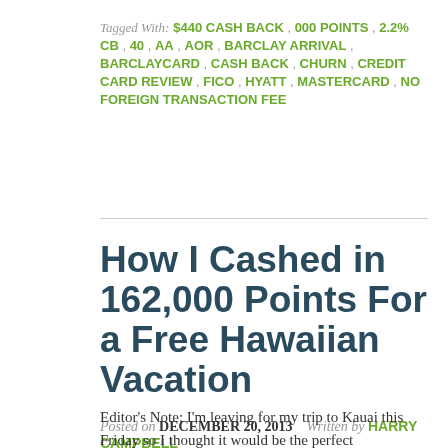Tagged With: $440 CASH BACK , 000 POINTS , 2.2% CB , 40 , AA , AOR , BARCLAY ARRIVAL , BARCLAYCARD , CASH BACK , CHURN , CREDIT CARD REVIEW , FICO , HYATT , MASTERCARD , NO FOREIGN TRANSACTION FEE
How I Cashed in 162,000 Points For a Free Hawaiian Vacation
Posted on DECEMBER 20, 2013   Written by HARRY CAMPBELL    35 COMMENTS
Editor's Note: I'm leaving for my trip to Kauai this Friday so I thought it would be the perfect